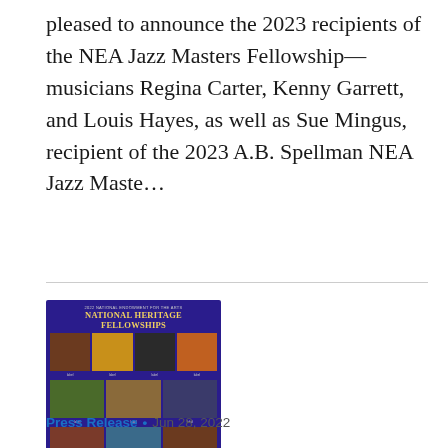pleased to announce the 2023 recipients of the NEA Jazz Masters Fellowship—musicians Regina Carter, Kenny Garrett, and Louis Hayes, as well as Sue Mingus, recipient of the 2023 A.B. Spellman NEA Jazz Maste…
[Figure (photo): 2022 National Endowment for the Arts National Heritage Fellowships promotional image showing a grid of photos of recipients on a dark blue/purple background with gold title text.]
Press Release • Jun 28, 2022